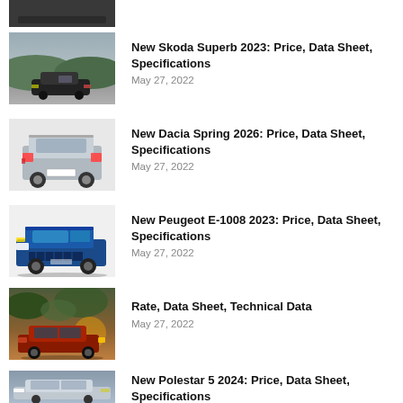[Figure (photo): Partial view of a dark car from behind, cropped at top]
[Figure (photo): Skoda Superb 2023 dark car on mountain road]
New Skoda Superb 2023: Price, Data Sheet, Specifications
May 27, 2022
[Figure (photo): Dacia Spring 2026 small silver SUV rear view]
New Dacia Spring 2026: Price, Data Sheet, Specifications
May 27, 2022
[Figure (photo): Peugeot E-1008 2023 blue SUV front view]
New Peugeot E-1008 2023: Price, Data Sheet, Specifications
May 27, 2022
[Figure (photo): Red sedan car parked under trees at sunset]
Rate, Data Sheet, Technical Data
May 27, 2022
[Figure (photo): Polestar 5 2024 silver car, partially cropped at bottom]
New Polestar 5 2024: Price, Data Sheet, Specifications